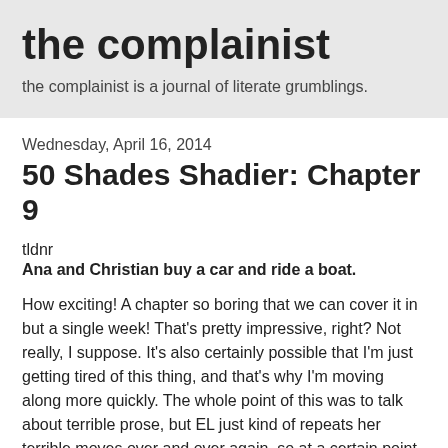the complainist
the complainist is a journal of literate grumblings.
Wednesday, April 16, 2014
50 Shades Shadier: Chapter 9
tldnr
Ana and Christian buy a car and ride a boat.
How exciting! A chapter so boring that we can cover it in but a single week! That's pretty impressive, right? Not really, I suppose. It's also certainly possible that I'm just getting tired of this thing, and that's why I'm moving along more quickly. The whole point of this was to talk about terrible prose, but EL just kind of repeats her terrible moves over and over again, so at a certain point, it stops being very entertaining for me to just make the same complaints again and again. I mean, it isn't like EL is listening to me, so I might so well just